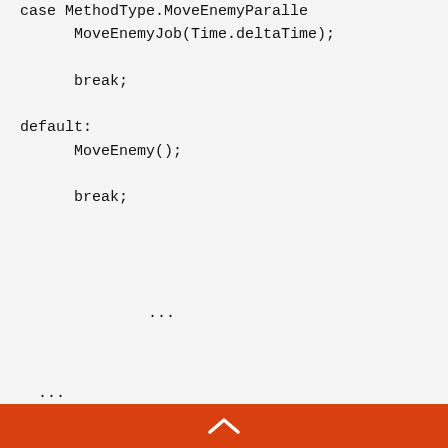case MethodType.MoveEnemyParalle
    MoveEnemyJob(Time.deltaTime);
    break;
default:
    MoveEnemy();
    break;
...
...
The first thing I do is set an array for the positions and
^